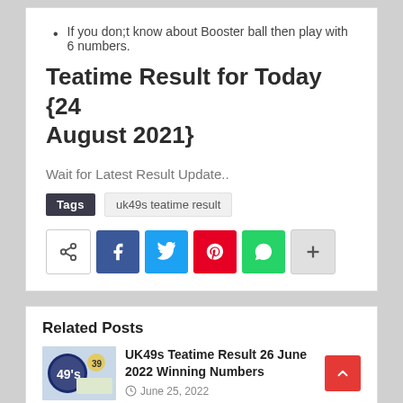If you don;t know about Booster ball then play with 6 numbers.
Teatime Result for Today {24 August 2021}
Wait for Latest Result Update..
Tags  uk49s teatime result
[Figure (infographic): Social share buttons: generic share icon, Facebook (blue), Twitter (cyan), Pinterest (red), WhatsApp (green), plus/more (gray)]
Related Posts
UK49s Teatime Result 26 June 2022 Winning Numbers
June 25, 2022